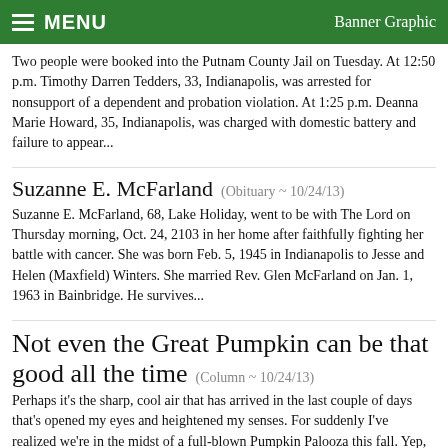MENU   Banner Graphic
Two people were booked into the Putnam County Jail on Tuesday. At 12:50 p.m. Timothy Darren Tedders, 33, Indianapolis, was arrested for nonsupport of a dependent and probation violation. At 1:25 p.m. Deanna Marie Howard, 35, Indianapolis, was charged with domestic battery and failure to appear...
Suzanne E. McFarland (Obituary ~ 10/24/13)
Suzanne E. McFarland, 68, Lake Holiday, went to be with The Lord on Thursday morning, Oct. 24, 2103 in her home after faithfully fighting her battle with cancer. She was born Feb. 5, 1945 in Indianapolis to Jesse and Helen (Maxfield) Winters. She married Rev. Glen McFarland on Jan. 1, 1963 in Bainbridge. He survives...
Not even the Great Pumpkin can be that good all the time (Column ~ 10/24/13)
Perhaps it's the sharp, cool air that has arrived in the last couple of days that's opened my eyes and heightened my senses. For suddenly I've realized we're in the midst of a full-blown Pumpkin Palooza this fall. Yep, from weeks before Halloween to sometime after Thanksgiving, it's now pretty much all pumpkin, all the time...